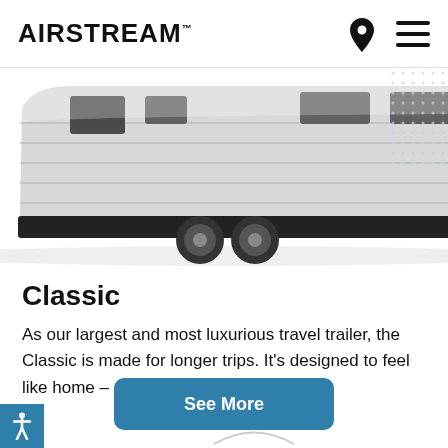AIRSTREAM
[Figure (photo): Side view of a large silver Airstream Classic travel trailer on a white background, showing the full aluminum exterior, dual rear axle wheels, and hitch at the front.]
Classic
As our largest and most luxurious travel trailer, the Classic is made for longer trips. It's designed to feel like home – or maybe even better.
See More